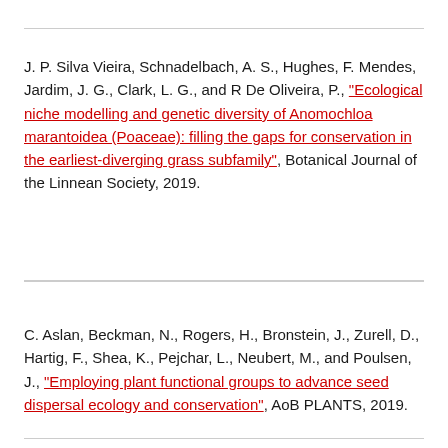J. P. Silva Vieira, Schnadelbach, A. S., Hughes, F. Mendes, Jardim, J. G., Clark, L. G., and R De Oliveira, P., "Ecological niche modelling and genetic diversity of Anomochloa marantoidea (Poaceae): filling the gaps for conservation in the earliest-diverging grass subfamily", Botanical Journal of the Linnean Society, 2019.
C. Aslan, Beckman, N., Rogers, H., Bronstein, J., Zurell, D., Hartig, F., Shea, K., Pejchar, L., Neubert, M., and Poulsen, J., "Employing plant functional groups to advance seed dispersal ecology and conservation", AoB PLANTS, 2019.